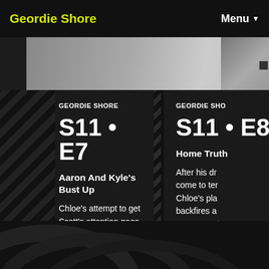Geordie Shore   Menu
[Figure (photo): Thumbnail strip showing episode preview images]
GEORDIE SHORE
S11 • E7
Aaron And Kyle's Bust Up
Chloe's attempt to get Scott's attention goes badly wrong. A trip to the beach has a nice surprise for Nathan. Meanwhile the Holly and Kyle situation comes to a head as the boys come to blows with huge consequences for Holly and Kyle.
02/12/2015
GEORDIE SHO
S11 • E8
Home Truth
After his dr come to ter Chloe's pla backfires a some very t go down w
09/12/2015